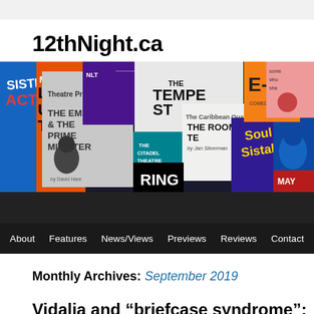12thNight.ca
[Figure (photo): Collage of theatre show posters including The Empress & The Prime Minister, The Tempest, The Roommate, Sleuth, Soul Sistahs, and others, displayed as a banner image for a theatre review website.]
About | Features | News/Views | Previews | Reviews | Contact
Monthly Archives: September 2019
Vidalia and “briefcase syndrome”: Teatro